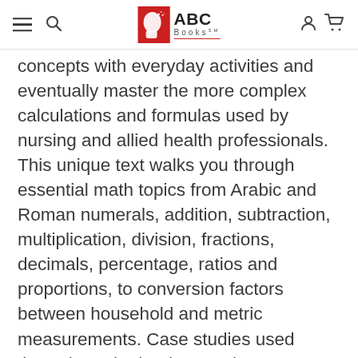ABC Books
concepts with everyday activities and eventually master the more complex calculations and formulas used by nursing and allied health professionals. This unique text walks you through essential math topics from Arabic and Roman numerals, addition, subtraction, multiplication, division, fractions, decimals, percentage, ratios and proportions, to conversion factors between household and metric measurements. Case studies used throughout the book not only demonstrate the mathematical concepts